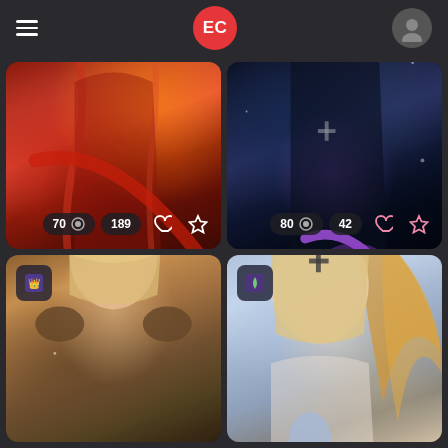EC (app header with hamburger menu, EC logo, and user avatar)
[Figure (screenshot): Game character in red ornate costume with flames in background. Stats: 70 views, 189 likes.]
[Figure (screenshot): Game character in dark/black armored costume holding purple glowing weapon. Stats: 80 views, 42 likes.]
[Figure (screenshot): Anime-style character with light blonde hair wearing brown armor, category icon top-left.]
[Figure (screenshot): Cosplay photo of blonde woman with cross face marking holding blue object, orange wing in background, category icon top-left.]